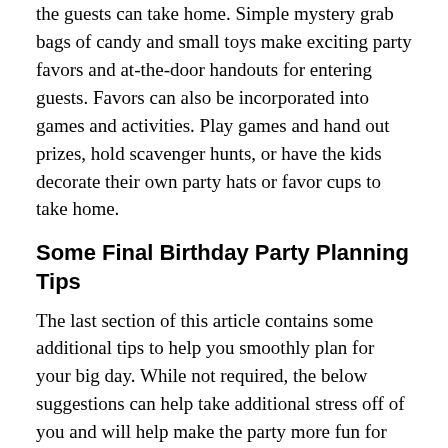the guests can take home. Simple mystery grab bags of candy and small toys make exciting party favors and at-the-door handouts for entering guests. Favors can also be incorporated into games and activities. Play games and hand out prizes, hold scavenger hunts, or have the kids decorate their own party hats or favor cups to take home.
Some Final Birthday Party Planning Tips
The last section of this article contains some additional tips to help you smoothly plan for your big day. While not required, the below suggestions can help take additional stress off of you and will help make the party more fun for everyone!
Allot Estimate Times for Each Activity
With kids, it's not easy to create a minute-by-minute schedule for a party; you never know when a spontaneous game of tag will take over. However, to help make sure nothing is rushed or